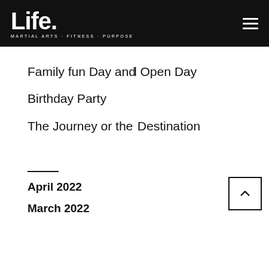Life. MARTIAL ARTS · FITNESS · PURPOSE
Family fun Day and Open Day
Birthday Party
The Journey or the Destination
April 2022
March 2022